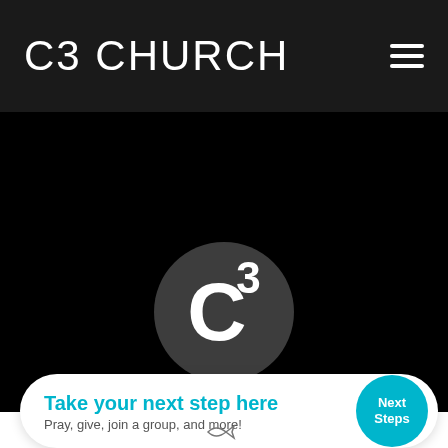C3 CHURCH
[Figure (logo): C3 Church logo: dark grey circle with stylized white C and superscript 3, with CHURCH text below in white bold letters, social icons (YouTube, Facebook, Email, Instagram) below on black background]
Take your next step here
Pray, give, join a group, and more!
[Figure (illustration): Next Steps cyan circular button]